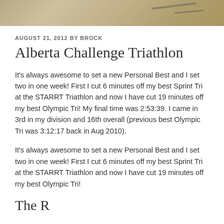[Figure (photo): Partial photo strip at top showing sandy/rocky terrain in grayscale]
AUGUST 21, 2012 BY BROCK
Alberta Challenge Triathlon
It's always awesome to set a new Personal Best and I set two in one week! First I cut 6 minutes off my best Sprint Tri at the STARRT Triathlon and now I have cut 19 minutes off my best Olympic Tri! My final time was 2:53:39. I came in 3rd in my division and 16th overall (previous best Olympic Tri was 3:12:17 back in Aug 2010).
It's always awesome to set a new Personal Best and I set two in one week! First I cut 6 minutes off my best Sprint Tri at the STARRT Triathlon and now I have cut 19 minutes off my best Olympic Tri!
The R…